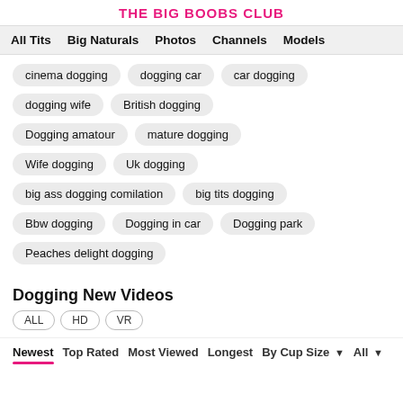THE BIG BOOBS CLUB
All Tits | Big Naturals | Photos | Channels | Models
cinema dogging
dogging car
car dogging
dogging wife
British dogging
Dogging amatour
mature dogging
Wife dogging
Uk dogging
big ass dogging comilation
big tits dogging
Bbw dogging
Dogging in car
Dogging park
Peaches delight dogging
Dogging New Videos
ALL | HD | VR
Newest | Top Rated | Most Viewed | Longest | By Cup Size | All